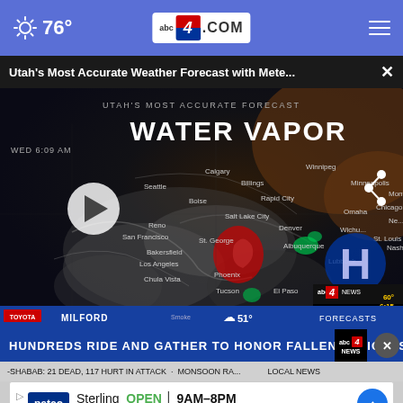76° abc4.com
Utah's Most Accurate Weather Forecast with Mete... ×
[Figure (screenshot): Weather broadcast screenshot showing water vapor map of the United States with meteorologist, city labels (Calgary, Winnipeg, Seattle, Billings, Rapid City, Minneapolis, Montreal, Boise, Salt Lake City, Omaha, Chicago, Reno, Denver, St. Louis, Nashville, San Francisco, St. George, Albuquerque, Wichita, Los Angeles, Bakersfield, Phoenix, Lubbock, Chula Vista, Tucson, El Paso), H high pressure symbol, play button overlay, UTAH'S MOST ACCURATE FORECAST banner, WATER VAPOR title, WED time label, abc4 corner logo, TOYOTA MILFORD ticker, 51° temperature, FORECASTS label]
HUNDREDS RIDE AND GATHER TO HONOR FALLEN OFFICERS
-SHABAB: 21 DEAD, 117 HURT IN ATTACK · MONSOON RA... LOCAL NEWS
Sterling OPEN 9AM–8PM 22000 Dulles Retail Plaza, #110, ..